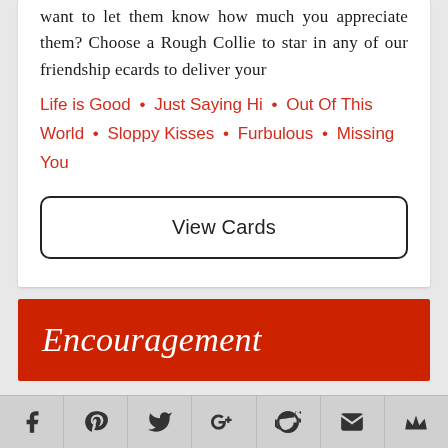want to let them know how much you appreciate them? Choose a Rough Collie to star in any of our friendship ecards to deliver your
Life is Good • Just Saying Hi • Out Of This World • Sloppy Kisses • Furbulous • Missing You
View Cards
Encouragement
Facebook Pinterest Twitter Google+ Reddit Email Crown